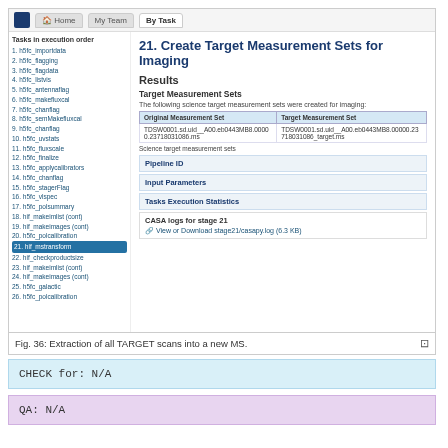[Figure (screenshot): Browser screenshot showing task '21. Create Target Measurement Sets for Imaging' with results section, a table mapping Original Measurement Set to Target Measurement Set, collapsible rows for Pipeline ID, Input Parameters, Tasks Execution Statistics, and CASA logs for stage 21 with a download link.]
Fig. 36: Extraction of all TARGET scans into a new MS.
CHECK for: N/A
QA: N/A